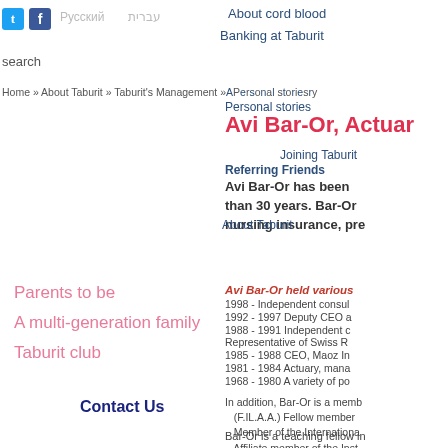Twitter Facebook Русский עברית | About cord blood | Banking at Taburit
search
Home » About Taburit » Taburit's Management » About Personal stories ry
Avi Bar-Or, Actuar
Personal stories
Joining Taburit
Referring Friends
About Taburit
Avi Bar-Or has been than 30 years. Bar-Or nursing insurance, pre
Parents to be
A multi-generation family
Taburit club
Avi Bar-Or held various
1998 - Independent consul
1992 - 1997 Deputy CEO a
1988 - 1991 Independent c Representative of Swiss R
1985 - 1988 CEO, Maoz In
1981 - 1984 Actuary, mana
1968 - 1980 A variety of po
In addition, Bar-Or is a memb (F.IL.A.A.) Fellow member Member of the Internationa Affiliate member of the Inst Member of the I.A.A. subc Member of The Global Ass
Contact Us
Bar-Or is a teaching fellow in